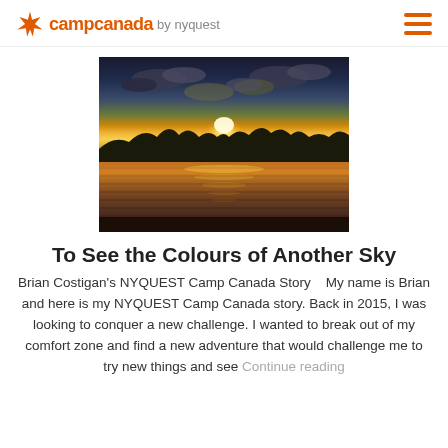camp canada by nyquest
[Figure (photo): Sunset over a lake with golden reflections on calm water, silhouetted treeline and dramatic clouds in the sky.]
To See the Colours of Another Sky
Brian Costigan's NYQUEST Camp Canada Story    My name is Brian and here is my NYQUEST Camp Canada story. Back in 2015, I was looking to conquer a new challenge. I wanted to break out of my comfort zone and find a new adventure that would challenge me to try new things and see    Continue reading